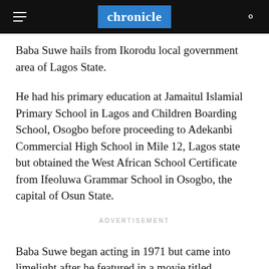chronicle
Baba Suwe hails from Ikorodu local government area of Lagos State.
He had his primary education at Jamaitul Islamial Primary School in Lagos and Children Boarding School, Osogbo before proceeding to Adekanbi Commercial High School in Mile 12, Lagos state but obtained the West African School Certificate from Ifeoluwa Grammar School in Osogbo, the capital of Osun State.
ADVERTISEMENT
Baba Suwe began acting in 1971 but came into limelight after he featured in a movie titled, Omolasan, a film produced by Obalende. He became more popular after he